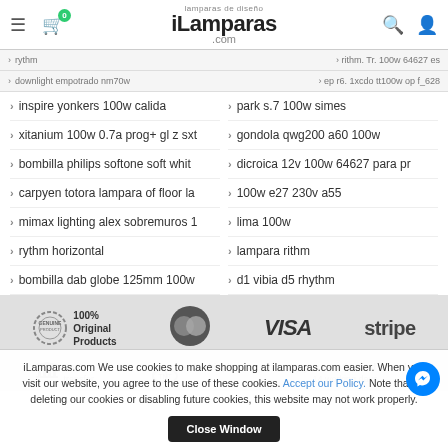iLamparas.com - lamparas de diseño
inspire yonkers 100w calida
park s.7 100w simes
xitanium 100w 0.7a prog+ gl z sxt
gondola qwg200 a60 100w
bombilla philips softone soft whit
dicroica 12v 100w 64627 para pr
carpyen totora lampara of floor la
100w e27 230v a55
mimax lighting alex sobremuros 1
lima 100w
rythm horizontal
lampara rithm
bombilla dab globe 125mm 100w
d1 vibia d5 rhythm
[Figure (infographic): Trust badges: 100% Original Products seal, MasterCard logo, VISA logo, stripe logo]
[Figure (infographic): Payment/shipping icons: Bank transfer, safe shipping TNT, warranties and refunds 14 working days]
iLamparas.com We use cookies to make shopping at ilamparas.com easier. When you visit our website, you agree to the use of these cookies. Accept our Policy. Note that by deleting our cookies or disabling future cookies, this website may not work properly.
Close Window
Contact